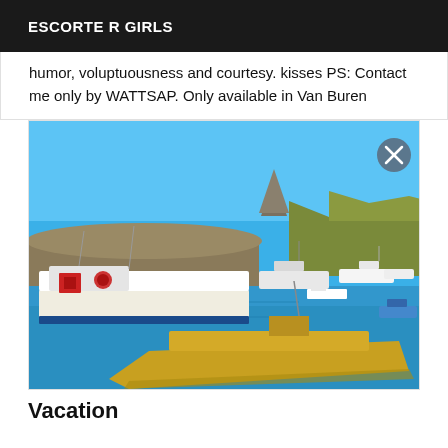ESCORTE R GIRLS
humor, voluptuousness and courtesy. kisses PS: Contact me only by WATTSAP. Only available in Van Buren
[Figure (photo): Harbor scene with multiple boats moored in blue water, rocky breakwater and a distinctive rock peak in the background, vivid HDR-style colors.]
Vacation